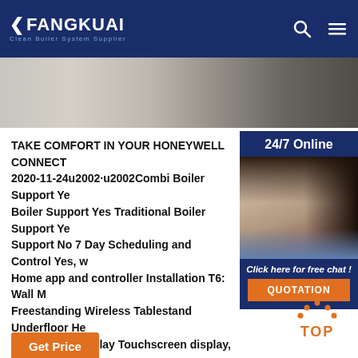FANGKUAI Clean Boiler System Supplier
[Figure (photo): Hero image strip showing partial view of industrial/office environment]
TAKE COMFORT IN YOUR HONEYWELL CONNECT... 2020-11-24u2002·u2002Combi Boiler Support Yes Traditional Boiler Support Yes ... Support No 7 Day Scheduling and Control Yes, w... Home app and controller Installation T6: Wall M... Freestanding Wireless Tablestand Underfloor He... Support No Display Touchscreen display, with b...
[Figure (photo): 24/7 Online customer support panel showing woman with headset]
Get Price
QUOTATION
[Figure (other): TOP back-to-top button icon with orange dots and text]